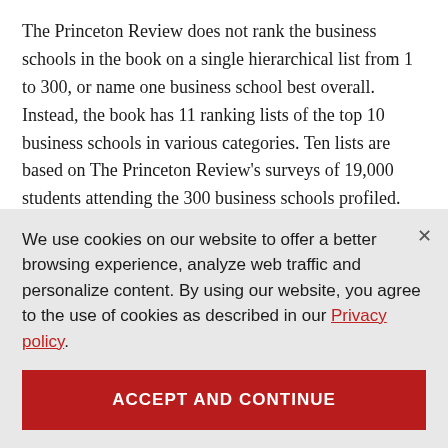The Princeton Review does not rank the business schools in the book on a single hierarchical list from 1 to 300, or name one business school best overall. Instead, the book has 11 ranking lists of the top 10 business schools in various categories. Ten lists are based on The Princeton Review's surveys of 19,000 students attending the 300 business schools profiled. (Only schools that permitted The Princeton Review to survey their students were eligible for consideration for these lists.)
We use cookies on our website to offer a better browsing experience, analyze web traffic and personalize content. By using our website, you agree to the use of cookies as described in our Privacy policy.